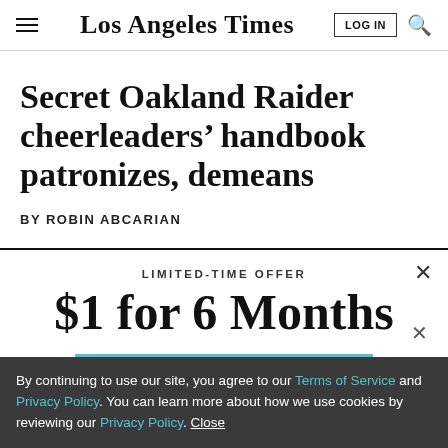Los Angeles Times
Secret Oakland Raider cheerleaders' handbook patronizes, demeans
BY ROBIN ABCARIAN
LIMITED-TIME OFFER
$1 for 6 Months
SUBSCRIBE NOW
By continuing to use our site, you agree to our Terms of Service and Privacy Policy. You can learn more about how we use cookies by reviewing our Privacy Policy. Close